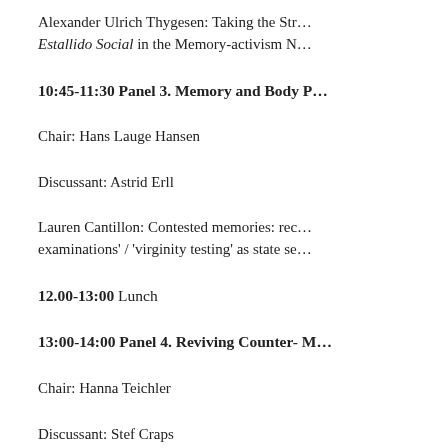Alexander Ulrich Thygesen: Taking the Str… Estallido Social in the Memory-activism N…
10:45-11:30 Panel 3. Memory and Body P…
Chair: Hans Lauge Hansen
Discussant: Astrid Erll
Lauren Cantillon: Contested memories: rec… examinations' / 'virginity testing' as state se…
12.00-13:00 Lunch
13:00-14:00 Panel 4. Reviving Counter- M…
Chair: Hanna Teichler
Discussant: Stef Craps